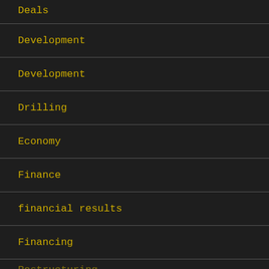Deals
Development
Development
Drilling
Economy
Finance
financial results
Financing
Restructuring (partial, clipped)